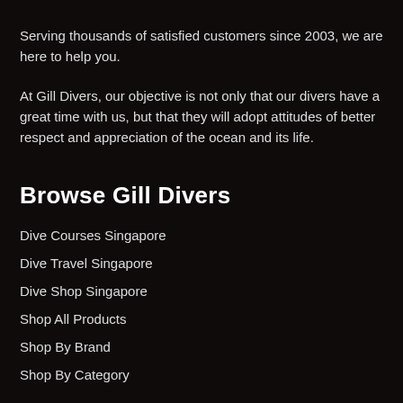Serving thousands of satisfied customers since 2003, we are here to help you.
At Gill Divers, our objective is not only that our divers have a great time with us, but that they will adopt attitudes of better respect and appreciation of the ocean and its life.
Browse Gill Divers
Dive Courses Singapore
Dive Travel Singapore
Dive Shop Singapore
Shop All Products
Shop By Brand
Shop By Category